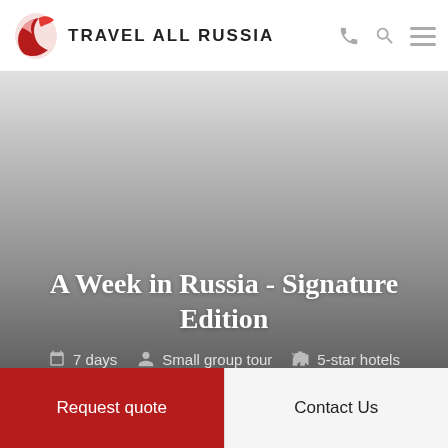TRAVEL ALL RUSSIA
[Figure (photo): Hero image background with gradient from light gray to dark gray representing a Russia travel scene]
A Week in Russia - Signature Edition
7 days   Small group tour   5-star hotels
Request quote
Contact Us